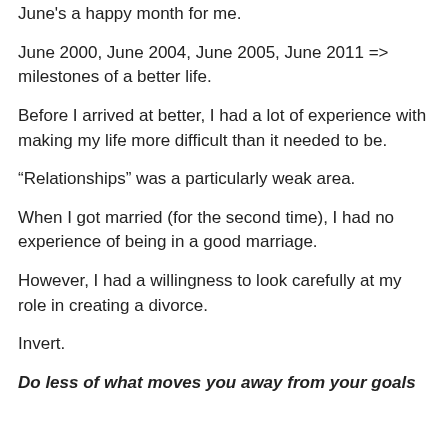June's a happy month for me.
June 2000, June 2004, June 2005, June 2011 => milestones of a better life.
Before I arrived at better, I had a lot of experience with making my life more difficult than it needed to be.
“Relationships” was a particularly weak area.
When I got married (for the second time), I had no experience of being in a good marriage.
However, I had a willingness to look carefully at my role in creating a divorce.
Invert.
Do less of what moves you away from your goals